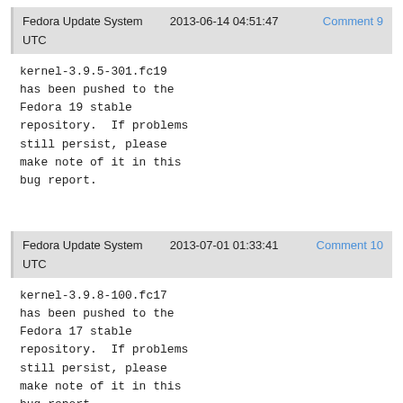Fedora Update System   2013-06-14 04:51:47   Comment 9
UTC
kernel-3.9.5-301.fc19
has been pushed to the
Fedora 19 stable
repository.  If problems
still persist, please
make note of it in this
bug report.
Fedora Update System   2013-07-01 01:33:41   Comment 10
UTC
kernel-3.9.8-100.fc17
has been pushed to the
Fedora 17 stable
repository.  If problems
still persist, please
make note of it in this
bug report.